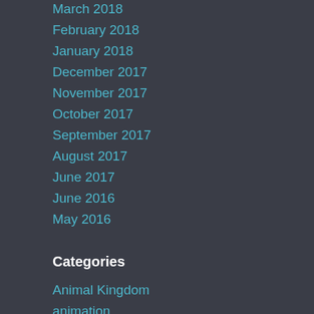March 2018
February 2018
January 2018
December 2017
November 2017
October 2017
September 2017
August 2017
June 2017
June 2016
May 2016
Categories
Animal Kingdom
animation
California Adventure